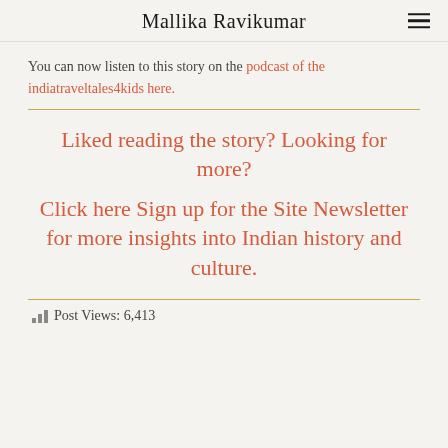Mallika Ravikumar
You can now listen to this story on the podcast of the indiatraveltales4kids here.
Liked reading the story? Looking for more?
Click here Sign up for the Site Newsletter for more insights into Indian history and culture.
Post Views: 6,413